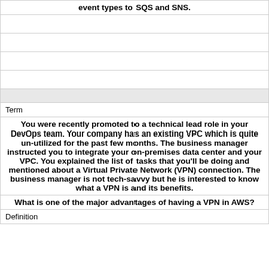event types to SQS and SNS.
Term
You were recently promoted to a technical lead role in your DevOps team. Your company has an existing VPC which is quite un-utilized for the past few months. The business manager instructed you to integrate your on-premises data center and your VPC. You explained the list of tasks that you'll be doing and mentioned about a Virtual Private Network (VPN) connection. The business manager is not tech-savvy but he is interested to know what a VPN is and its benefits.
What is one of the major advantages of having a VPN in AWS?
Definition